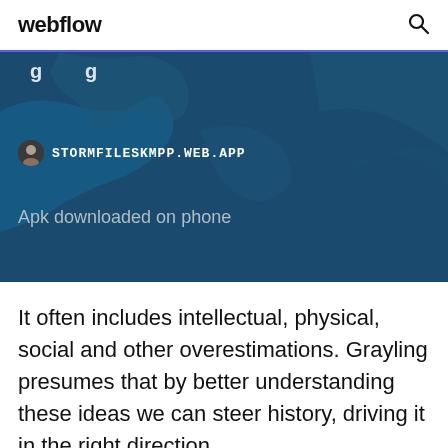webflow
[Figure (map): Dark blue teal map background showing coastal/geographic shapes, with a URL bar overlay showing STORMFILESKMPP.WEB.APP and an avatar favicon, and text 'Apk downloaded on phone']
It often includes intellectual, physical, social and other overestimations. Grayling presumes that by better understanding these ideas we can steer history, driving it in the right direction.